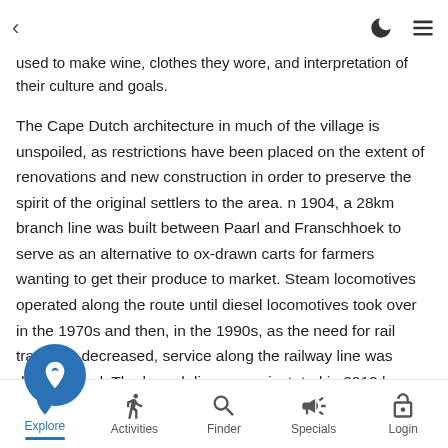< (back) | (moon/dark-mode icon) | (menu icon)
Huguenots who settled in the Cape, and especially in the Franschhoek Valley. On exhibition are the various tools they used to make wine, clothes they wore, and interpretation of their culture and goals.
The Cape Dutch architecture in much of the village is unspoiled, as restrictions have been placed on the extent of renovations and new construction in order to preserve the spirit of the original settlers to the area. n 1904, a 28km branch line was built between Paarl and Franschhoek to serve as an alternative to ox-drawn carts for farmers wanting to get their produce to market. Steam locomotives operated along the route until diesel locomotives took over in the 1970s and then, in the 1990s, as the need for rail transport decreased, service along the railway line was discontinued. The branch line was reinstated in 2012 by a private operator and now sees service as the Franschhoek Wine Tram, a tourism project utilizing newly constructed
Explore | Activities | Finder | Specials | Login